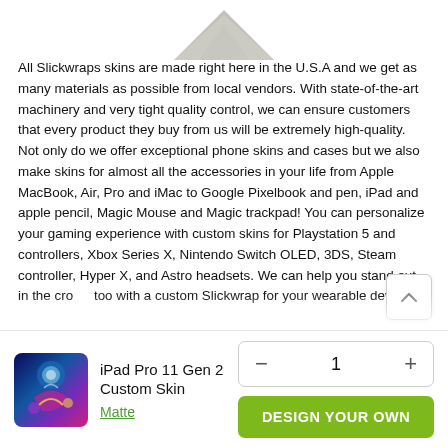[Figure (illustration): Partial product image showing a triangular/wedge-shaped grey object (iPad skin) at the top of the page, partially cut off]
All Slickwraps skins are made right here in the U.S.A and we get as many materials as possible from local vendors. With state-of-the-art machinery and very tight quality control, we can ensure customers that every product they buy from us will be extremely high-quality. Not only do we offer exceptional phone skins and cases but we also make skins for almost all the accessories in your life from Apple MacBook, Air, Pro and iMac to Google Pixelbook and pen, iPad and apple pencil, Magic Mouse and Magic trackpad! You can personalize your gaming experience with custom skins for Playstation 5 and controllers, Xbox Series X, Nintendo Switch OLED, 3DS, Steam controller, Hyper X, and Astro headsets. We can help you stand out in the crowd too with a custom Slickwrap for your wearable device
[Figure (photo): Product thumbnail showing iPad Pro 11 Gen 2 Custom Skin with colorful artistic design (blue, purple, pink tones with cartoon-style artwork)]
iPad Pro 11 Gen 2 Custom Skin
Matte
− 1 +
DESIGN YOUR OWN